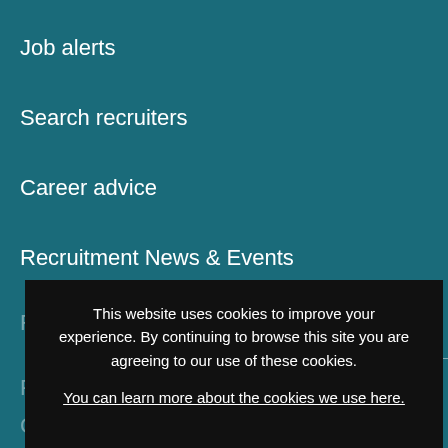Job alerts
Search recruiters
Career advice
Recruitment News & Events
Recruiter
Post a job
CV search
About us
This website uses cookies to improve your experience. By continuing to browse this site you are agreeing to our use of these cookies.
You can learn more about the cookies we use here.
x